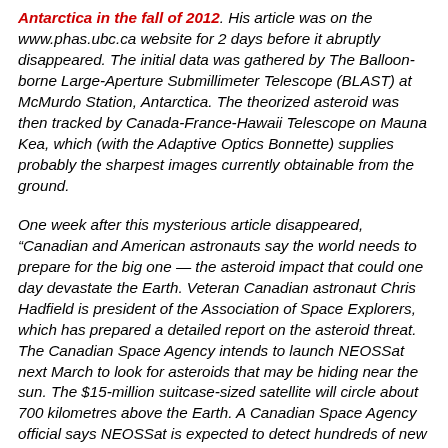Antarctica in the fall of 2012. His article was on the www.phas.ubc.ca website for 2 days before it abruptly disappeared. The initial data was gathered by The Balloon-borne Large-Aperture Submillimeter Telescope (BLAST) at McMurdo Station, Antarctica. The theorized asteroid was then tracked by Canada-France-Hawaii Telescope on Mauna Kea, which (with the Adaptive Optics Bonnette) supplies probably the sharpest images currently obtainable from the ground.
One week after this mysterious article disappeared, "Canadian and American astronauts say the world needs to prepare for the big one — the asteroid impact that could one day devastate the Earth. Veteran Canadian astronaut Chris Hadfield is president of the Association of Space Explorers, which has prepared a detailed report on the asteroid threat. The Canadian Space Agency intends to launch NEOSSat next March to look for asteroids that may be hiding near the sun. The $15-million suitcase-sized satellite will circle about 700 kilometres above the Earth. A Canadian Space Agency official says NEOSSat is expected to detect hundreds of new asteroids during its first year of operation. It will also monitor